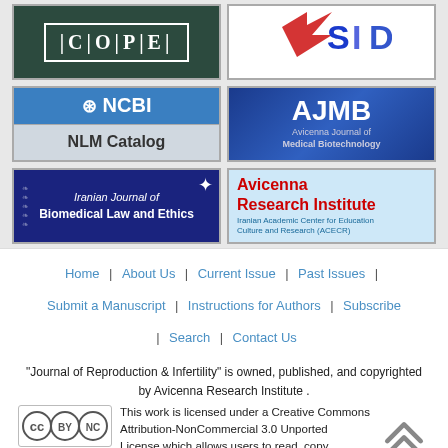[Figure (logo): COPE logo - dark green background with white border text C|O|P|E]
[Figure (logo): SID logo - white background with stylized SID text in blue and red]
[Figure (logo): NCBI NLM Catalog logo - blue top with NCBI text, gray bottom with NLM Catalog]
[Figure (logo): AJMB - Avicenna Journal of Medical Biotechnology logo - blue gradient background]
[Figure (logo): Iranian Journal of Biomedical Law and Ethics logo - dark blue background]
[Figure (logo): Avicenna Research Institute - Iranian Academic Center for Education Culture and Research (ACECR) logo - light blue background]
Home | About Us | Current Issue | Past Issues | Submit a Manuscript | Instructions for Authors | Subscribe | Search | Contact Us
"Journal of Reproduction & Infertility" is owned, published, and copyrighted by Avicenna Research Institute . This work is licensed under a Creative Commons Attribution-NonCommercial 3.0 Unported License which allows users to read, copy, distribute and make derivative works for non-commercial purposes